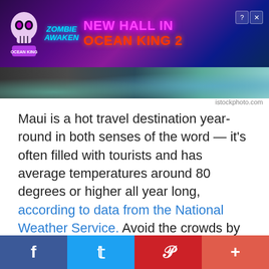[Figure (screenshot): Advertisement banner for 'New Hall in Ocean King 2' game, with purple/dark background, skull character, and colorful text]
[Figure (photo): Partial photo of ocean/coastal scene showing dark rocky cliffs and blue-teal water]
istockphoto.com
Maui is a hot travel destination year-round in both senses of the word — it's often filled with tourists and has average temperatures around 80 degrees or higher all year long, according to data from the National Weather Service. Avoid the crowds by visiting the secret locations only locals know such as Waioka Pond, a secluded freshwater swimming hole lined with cliffs you can dive off of, and Red Sand Beach, one of the world's stunning rainbow beaches you'll have to
[Figure (infographic): Social media sharing bar with Facebook, Twitter, Pinterest, and plus buttons]